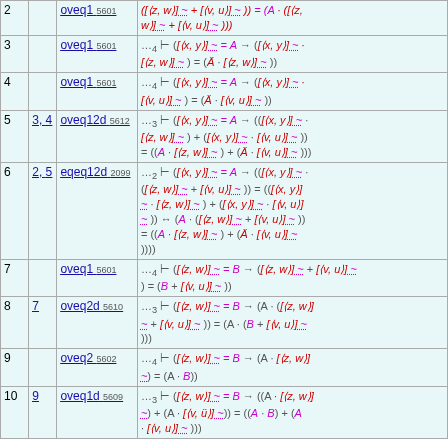| # | Ref | Rule | Formula |
| --- | --- | --- | --- |
| 2 |  | oveq1 5601 | ([⟨z,w⟩] ~ + [⟨v,u⟩] ~)) = (A · ([⟨z,w⟩] ~ + [⟨v,u⟩] ~ ))) |
| 3 |  | oveq1 5601 | ...4 ⊢ ([⟨x,y⟩] ~ = A → ([⟨x,y⟩] ~ · [⟨z,w⟩] ~) = (Ä · [⟨z,w⟩] ~ )) |
| 4 |  | oveq1 5601 | ...4 ⊢ ([⟨x,y⟩] ~ = A → ([⟨x,y⟩] ~ · [⟨v,u⟩] ~) = (Ä · [⟨v,u⟩] ~ )) |
| 5 | 3, 4 | oveq12d 5612 | ...3 ⊢ ([⟨x,y⟩] ~ = A → (([⟨x,y⟩] ~ · [⟨z,w⟩] ~) + ([⟨x,y⟩] ~ · [⟨v,u⟩] ~)) = ((A · [⟨z,w⟩] ~) + (Ä · [⟨v,u⟩] ~ ))) |
| 6 | 2, 5 | eqeq12d 2099 | ...2 ⊢ ([⟨x,y⟩] ~ = A → (([⟨x,y⟩] ~ · ([⟨z,w⟩] ~ + [⟨v,u⟩] ~)) = (([⟨x,y⟩] ~ · [⟨z,w⟩] ~) + ([⟨x,y⟩] ~ · [⟨v,u⟩] ~)) ↔ (A · ([⟨z,w⟩] ~ + [⟨v,u⟩] ~)) = ((A · [⟨z,w⟩] ~) + (Ä · [⟨v,u⟩] ~ )))) |
| 7 |  | oveq1 5601 | ...4 ⊢ ([⟨z,w⟩] ~ = B → ([⟨z,w⟩] ~ + [⟨v,u⟩] ~) = (B + [⟨v,u⟩] ~ )) |
| 8 | 7 | oveq2d 5610 | ...3 ⊢ ([⟨z,w⟩] ~ = B → (A · ([⟨z,w⟩] ~ + [⟨v,u⟩] ~)) = (A · (B + [⟨v,u⟩] ~ ))) |
| 9 |  | oveq2 5602 | ...4 ⊢ ([⟨z,w⟩] ~ = B → (A · [⟨z,w⟩] ~) = (A · B)) |
| 10 | 9 | oveq1d 5609 | ...3 ⊢ ([⟨z,w⟩] ~ = B → ((A · [⟨z,w⟩] ~) + (A · [⟨v,u⟩] ~)) = ((A · B) + (A · [⟨v,u⟩] ~ ))) |